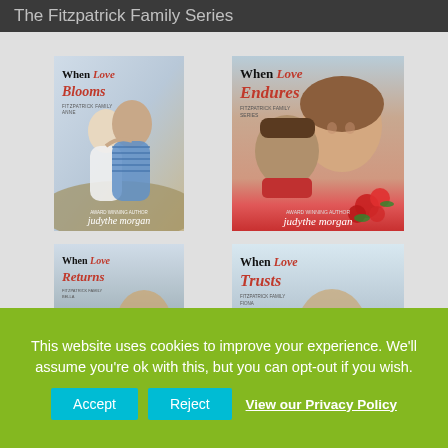The Fitzpatrick Family Series
[Figure (illustration): Book cover: When Love Blooms by judythe morgan, Fitzpatrick Family Series. Shows a couple embracing, man in blue striped shirt. Award winning author.]
[Figure (illustration): Book cover: When Love Endures by judythe morgan, Fitzpatrick Family Series. Shows a woman smiling with a man kissing her cheek, red flowers in foreground.]
[Figure (illustration): Book cover: When Love Returns by judythe morgan, Fitzpatrick Family Series (Bella). Partially visible.]
[Figure (illustration): Book cover: When Love Trusts by judythe morgan, Fitzpatrick Family Series (Fiona). Partially visible.]
This website uses cookies to improve your experience. We'll assume you're ok with this, but you can opt-out if you wish.
Accept
Reject
View our Privacy Policy